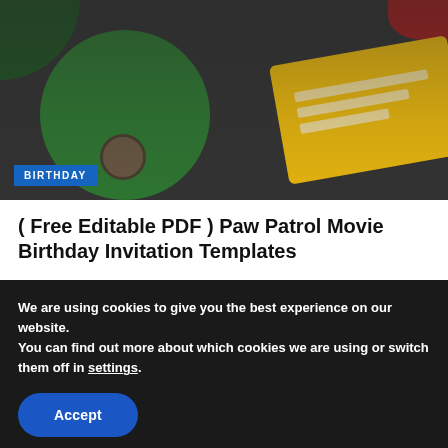[Figure (photo): Birthday invitation card image showing a green circular element, a yellow card with text lines, foliage, and a coffee cup on a dark textured background. A blue BIRTHDAY badge overlay is visible in the bottom-left.]
( Free Editable PDF ) Paw Patrol Movie Birthday Invitation Templates
Coming through, we have a special thing that needs immediate action to be taken care of! What kind of special ...
AUGUST 3, 2022
We are using cookies to give you the best experience on our website.
You can find out more about which cookies we are using or switch them off in settings.
Accept